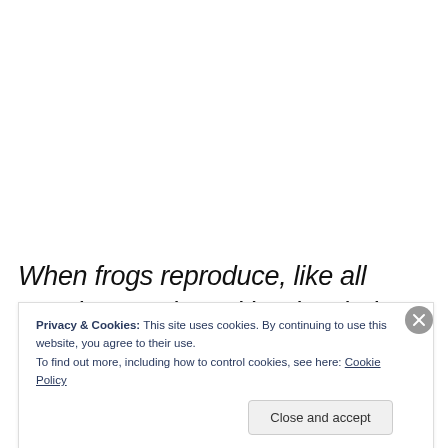When frogs reproduce, like all vertebrates, they either lay their eggs in water or on land — with one exception
Privacy & Cookies: This site uses cookies. By continuing to use this website, you agree to their use.
To find out more, including how to control cookies, see here: Cookie Policy